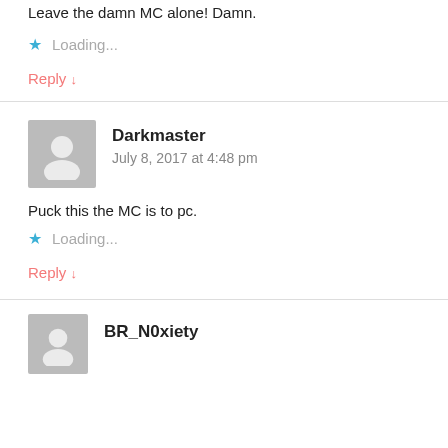Leave the damn MC alone! Damn.
Loading...
Reply ↓
Darkmaster
July 8, 2017 at 4:48 pm
Puck this the MC is to pc.
Loading...
Reply ↓
BR_N0xiety